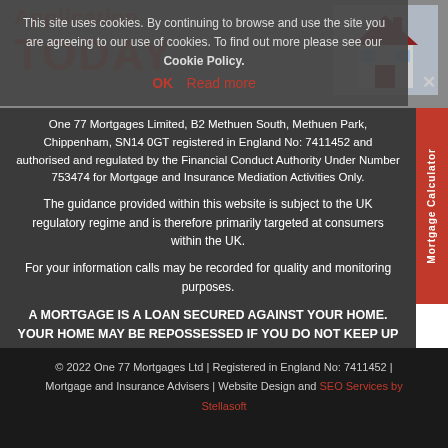[Figure (screenshot): Top banner with 'Application TODAY' text in red and a house illustration on grey background, partially obscured by cookie consent overlay]
This site uses cookies. By continuing to browse and use the site you are agreeing to our use of cookies. To find out more please see our Cookie Policy.
OK   Read more
One 77 Mortgages Limited, B2 Methuen South, Methuen Park, Chippenham, SN14 0GT registered in England No: 7411452 and authorised and regulated by the Financial Conduct Authority Under Number 753474 for Mortgage and Insurance Mediation Activities Only.
The guidance provided within this website is subject to the UK regulatory regime and is therefore primarily targeted at consumers within the UK.
For your information calls may be recorded for quality and monitoring purposes.
A MORTGAGE IS A LOAN SECURED AGAINST YOUR HOME. YOUR HOME MAY BE REPOSSESSED IF YOU DO NOT KEEP UP REPAYMENTS ON YOUR MORTGAGE OR ANY OTHER DEBT SECURED ON IT.
© 2022 One 77 Mortgages Ltd | Registered in England No: 7411452 | Mortgage and Insurance Advisers | Website Design and SEO Services by Stellasoft